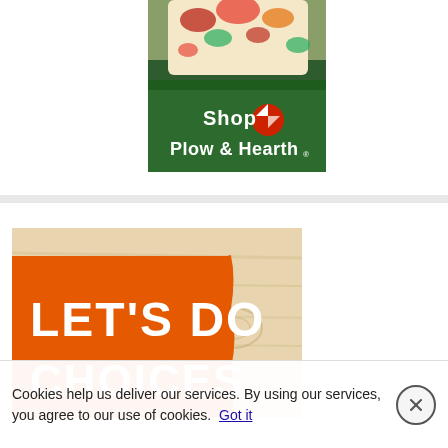[Figure (photo): Plow & Hearth advertisement showing a floral quilt/blanket on a bench with green background and 'Shop Plow & Hearth' text]
[Figure (photo): Home Depot advertisement with orange background, wood texture, bold white text reading 'LET'S DO CHOICES.']
Cookies help us deliver our services. By using our services, you agree to our use of cookies. Got it